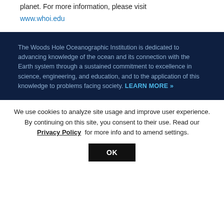planet. For more information, please visit www.whoi.edu
The Woods Hole Oceanographic Institution is dedicated to advancing knowledge of the ocean and its connection with the Earth system through a sustained commitment to excellence in science, engineering, and education, and to the application of this knowledge to problems facing society. LEARN MORE »
We use cookies to analyze site usage and improve user experience. By continuing on this site, you consent to their use. Read our Privacy Policy for more info and to amend settings.